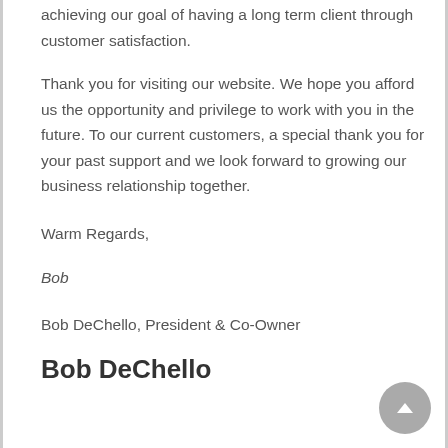achieving our goal of having a long term client through customer satisfaction.
Thank you for visiting our website. We hope you afford us the opportunity and privilege to work with you in the future. To our current customers, a special thank you for your past support and we look forward to growing our business relationship together.
Warm Regards,
Bob
Bob DeChello, President & Co-Owner
Bob DeChello